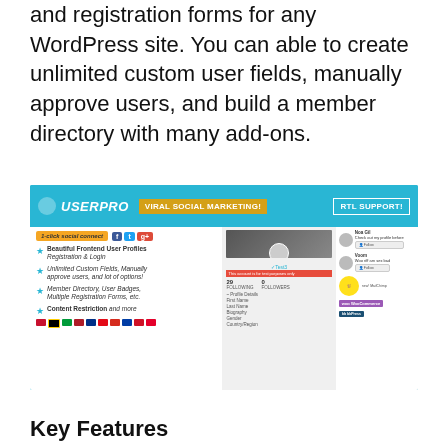and registration forms for any WordPress site. You can able to create unlimited custom user fields, manually approve users, and build a member directory with many add-ons.
[Figure (screenshot): Screenshot of the UserPro WordPress plugin promotional banner showing features: 1-click social connect, Beautiful Frontend User Profiles Registration & Login, Unlimited Custom Fields, Member Directory, User Badges, Multiple Registration Forms, Content Restriction, viral social marketing badge, RTL support badge, and integration logos for MailChimp, WooCommerce, and bbPress.]
Key Features